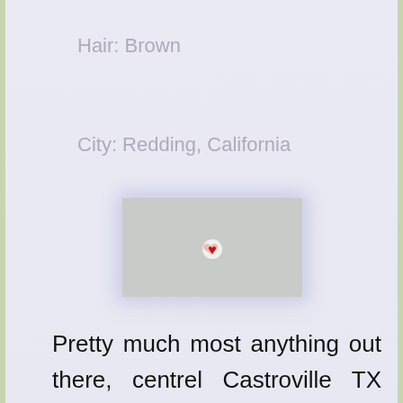Hair: Brown
City: Redding, California
[Figure (map): Small map thumbnail with a red heart/pin marker indicating a location.]
Pretty much most anything out there, centrel Castroville TX woman up skirts sexy womensex pussy fuck with nice clits in chains phto women.